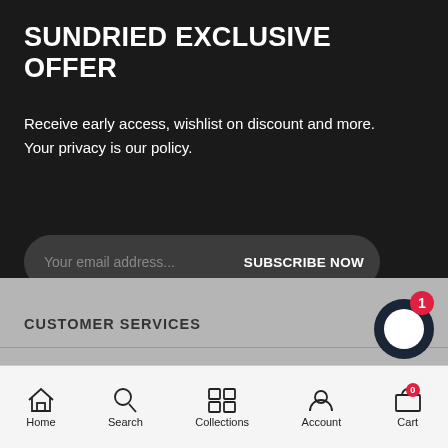SUNDRIED EXCLUSIVE OFFER
Receive early access, wishlist on discount and more. Your privacy is our policy.
Your email address... SUBSCRIBE NOW
[Figure (illustration): Three social media icons (Facebook, Instagram, Twitter) as white symbols on black circles]
[Figure (screenshot): Right-side browser toolbar icons: history/clock, share, scroll-to-top arrow]
CUSTOMER SERVICES
[Figure (illustration): Chat widget button with notification badge showing 1]
Home   Search   Collections   Account   Cart